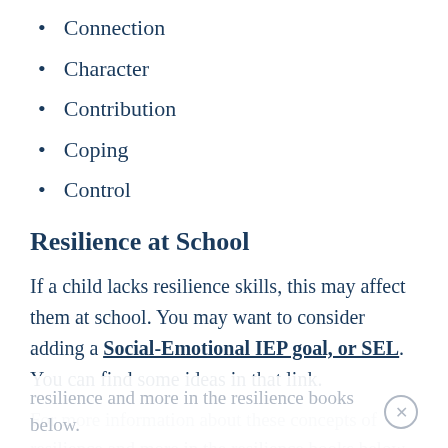Connection
Character
Contribution
Coping
Control
Resilience at School
If a child lacks resilience skills, this may affect them at school. You may want to consider adding a Social-Emotional IEP goal, or SEL. You can find some ideas in that link.
For more information about these concepts of resilience and more in the resilience books below.